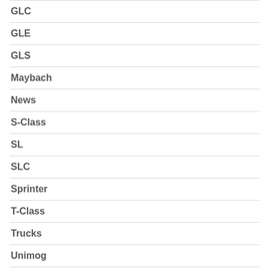GLC
GLE
GLS
Maybach
News
S-Class
SL
SLC
Sprinter
T-Class
Trucks
Unimog
V Class